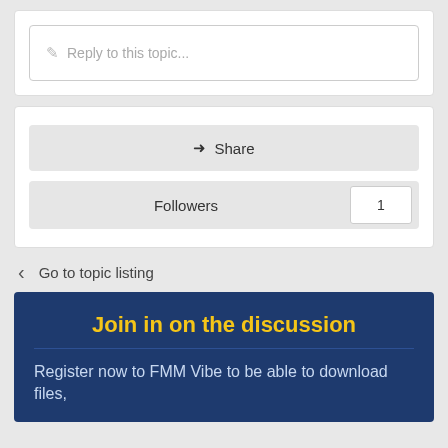Reply to this topic...
Share
Followers 1
Go to topic listing
Join in on the discussion
Register now to FMM Vibe to be able to download files,